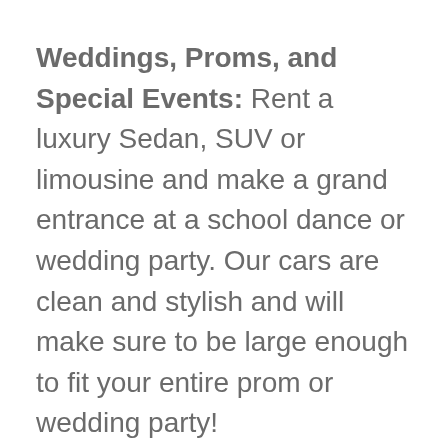Weddings, Proms, and Special Events: Rent a luxury Sedan, SUV or limousine and make a grand entrance at a school dance or wedding party. Our cars are clean and stylish and will make sure to be large enough to fit your entire prom or wedding party!
Business Travelers: Our hourly and daily chauffeuring